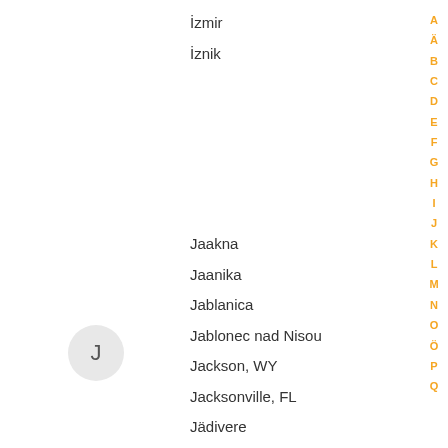İzmir
İznik
J
Jaakna
Jaanika
Jablanica
Jablonec nad Nisou
Jackson, WY
Jacksonville, FL
Jädivere
Jadranovo
Jaén
Jägala